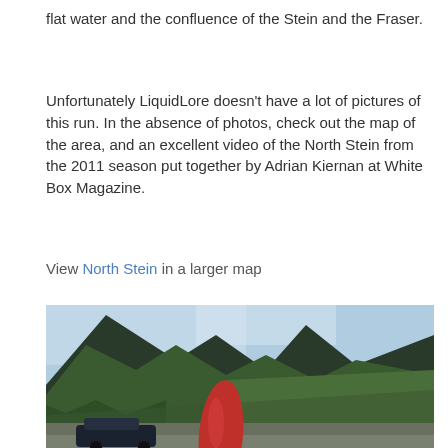flat water and the confluence of the Stein and the Fraser.
Unfortunately LiquidLore doesn't have a lot of pictures of this run. In the absence of photos, check out the map of the area, and an excellent video of the North Stein from the 2011 season put together by Adrian Kiernan at White Box Magazine.
View North Stein in a larger map
[Figure (photo): Mountain landscape with forested slopes and a red kayak or canoe in the foreground, likely near the North Stein river area.]